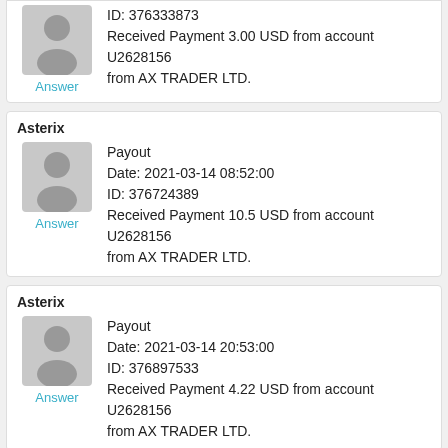ID: 376333873
Received Payment 3.00 USD from account U2628156 from AX TRADER LTD.
Answer
Asterix
Payout
Date: 2021-03-14 08:52:00
ID: 376724389
Received Payment 10.5 USD from account U2628156 from AX TRADER LTD.
Answer
Asterix
Payout
Date: 2021-03-14 20:53:00
ID: 376897533
Received Payment 4.22 USD from account U2628156 from AX TRADER LTD.
Answer
Asterix
Payout
$8.90 has been successfully sent to your Litecoin acco
La6mE57animU67hw3aPTTUY6khJMaDBTs